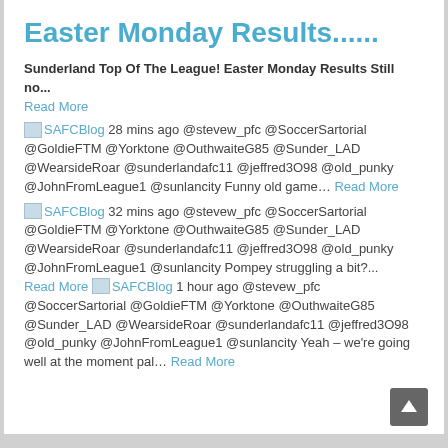Easter Monday Results......
Sunderland Top Of The League! Easter Monday Results Still no... Read More
SAFCBlog 28 mins ago @stevew_pfc @SoccerSartorial @GoldieFTM @Yorktone @OuthwaiteG85 @Sunder_LAD @WearsideRoar @sunderlandafc11 @jeffred3O98 @old_punky @JohnFromLeague1 @sunlancity Funny old game... Read More
SAFCBlog 32 mins ago @stevew_pfc @SoccerSartorial @GoldieFTM @Yorktone @OuthwaiteG85 @Sunder_LAD @WearsideRoar @sunderlandafc11 @jeffred3O98 @old_punky @JohnFromLeague1 @sunlancity Pompey struggling a bit?... Read More SAFCBlog 1 hour ago @stevew_pfc @SoccerSartorial @GoldieFTM @Yorktone @OuthwaiteG85 @Sunder_LAD @WearsideRoar @sunderlandafc11 @jeffred3O98 @old_punky @JohnFromLeague1 @sunlancity Yeah – we're going well at the moment pal... Read More